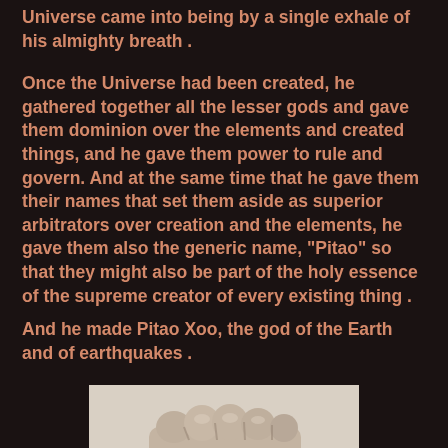Universe came into being by a single exhale of his almighty breath .
Once the Universe had been created, he gathered together all the lesser gods and gave them dominion over the elements and created things, and he gave them power to rule and govern. And at the same time that he gave them their names that set them aside as superior arbitrators over creation and the elements, he gave them also the generic name, "Pitao" so that they might also be part of the holy essence of the supreme creator of every existing thing .
And he made Pitao Xoo, the god of the Earth and of earthquakes .
[Figure (photo): A sepia-toned photograph of a clenched fist, knuckles facing up, on a light background.]